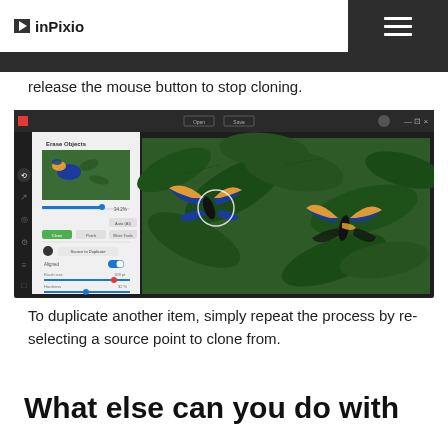inPixio
release the mouse button to stop cloning.
[Figure (screenshot): inPixio photo editing software screenshot showing Erase Objects panel on left with Clone/Paste tools and a butterfly image being cloned on green leaf background]
To duplicate another item, simply repeat the process by re-selecting a source point to clone from.
What else can you do with